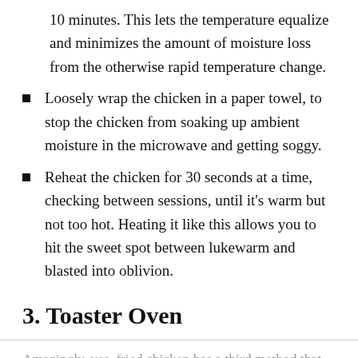10 minutes. This lets the temperature equalize and minimizes the amount of moisture loss from the otherwise rapid temperature change.
Loosely wrap the chicken in a paper towel, to stop the chicken from soaking up ambient moisture in the microwave and getting soggy.
Reheat the chicken for 30 seconds at a time, checking between sessions, until it’s warm but not too hot. Heating it like this allows you to hit the sweet spot between lukewarm and blasted into oblivion.
3. Toaster Oven
Amazingly, yes, fried chicken has a third method that can be used to reheat it successfully.